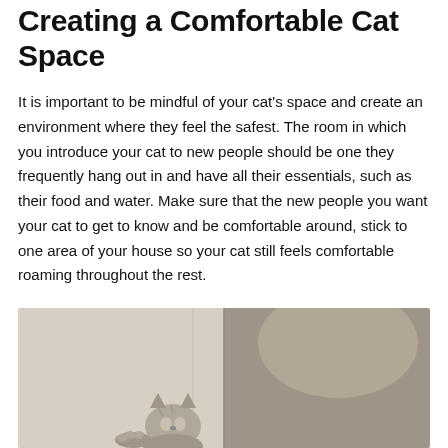Creating a Comfortable Cat Space
It is important to be mindful of your cat's space and create an environment where they feel the safest. The room in which you introduce your cat to new people should be one they frequently hang out in and have all their essentials, such as their food and water. Make sure that the new people you want your cat to get to know and be comfortable around, stick to one area of your house so your cat still feels comfortable roaming throughout the rest.
[Figure (photo): A cat photographed from above near a vertical divider or door frame, with lighter beige wall on the left and darker brownish-gray wall on the right.]